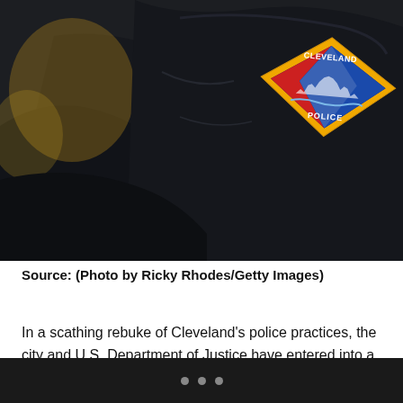[Figure (photo): Close-up photo of a police officer's shoulder showing a Cleveland Police badge/patch on a black uniform. The patch is diamond-shaped with a yellow border and red, blue, and white design inside.]
Source: (Photo by Ricky Rhodes/Getty Images)
In a scathing rebuke of Cleveland’s police practices, the city and U.S. Department of Justice have entered into a court enforceable agreement to halt excessive use of force by officers.